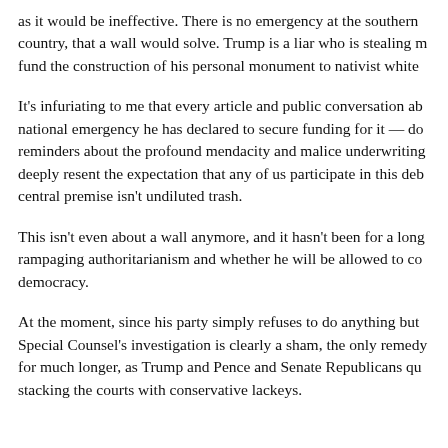as it would be ineffective. There is no emergency at the southern country, that a wall would solve. Trump is a liar who is stealing m fund the construction of his personal monument to nativist white
It's infuriating to me that every article and public conversation ab national emergency he has declared to secure funding for it — do reminders about the profound mendacity and malice underwriting deeply resent the expectation that any of us participate in this deb central premise isn't undiluted trash.
This isn't even about a wall anymore, and it hasn't been for a long rampaging authoritarianism and whether he will be allowed to co democracy.
At the moment, since his party simply refuses to do anything but Special Counsel's investigation is clearly a sham, the only remedy for much longer, as Trump and Pence and Senate Republicans qu stacking the courts with conservative lackeys.